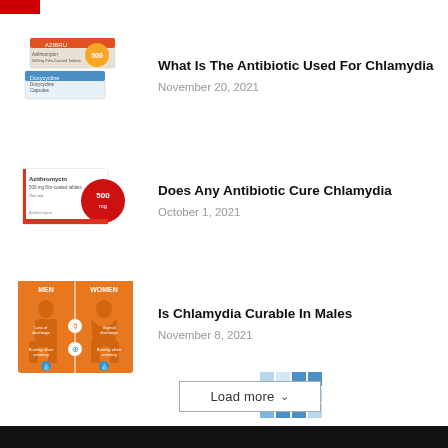[Figure (photo): Red and white antibiotic medicine boxes (Azithromycin/Doxycycline capsules) with orange round tablet visible]
What Is The Antibiotic Used For Chlamydia
November 20, 2021
[Figure (photo): Azithromycin 500mg film-coated tablets box with large red circle showing 500mg label]
Does Any Antibiotic Cure Chlamydia
October 1, 2021
[Figure (illustration): Orange infographic showing MEN and WOMEN silhouettes with icons for symptoms]
Is Chlamydia Curable In Males
November 8, 2021
[Figure (other): Loading spinner graphic made of blue squares in various shades]
Load more